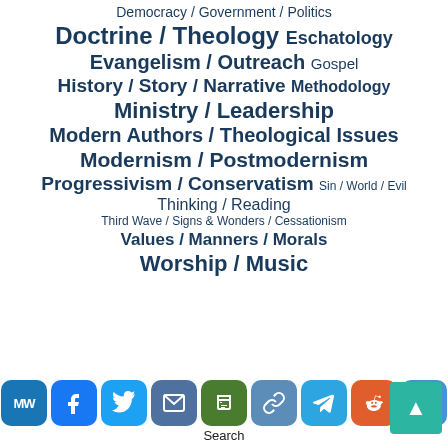Democracy / Government / Politics
Doctrine / Theology  Eschatology
Evangelism / Outreach  Gospel
History / Story / Narrative  Methodology
Ministry / Leadership
Modern Authors / Theological Issues
Modernism / Postmodernism
Progressivism / Conservatism  Sin / World / Evil
Thinking / Reading
Third Wave / Signs & Wonders / Cessationism
Values / Manners / Morals
Worship / Music
Search